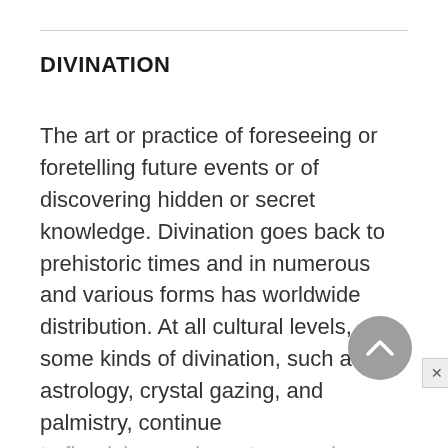DIVINATION
The art or practice of foreseeing or foretelling future events or of discovering hidden or secret knowledge. Divination goes back to prehistoric times and in numerous and various forms has worldwide distribution. At all cultural levels, some kinds of divination, such as astrology, crystal gazing, and palmistry, continue to flourish even in mature modern